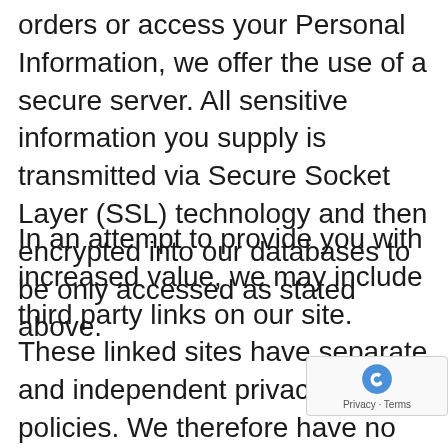orders or access your Personal Information, we offer the use of a secure server. All sensitive information you supply is transmitted via Secure Socket Layer (SSL) technology and then encrypted into our databases to be only accessed as stated above.
In an attempt to provide you with increased value, we may include third party links on our site. These linked sites have separate and independent privacy policies. We therefore have no responsibility or liability for the content and activities of these linked sites. Nonetheless, we seek to protect the integrity of our site and welcome any feedback about these linked sites (inclu if a specific link does not work)